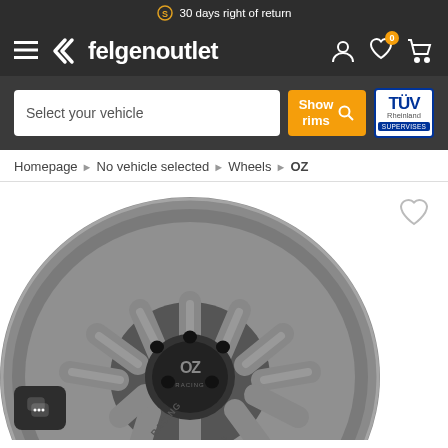30 days right of return
[Figure (screenshot): Felgenoutlet e-commerce website header with navigation bar showing hamburger menu, logo with double chevron, brand name felgenoutlet, user/wishlist/cart icons, vehicle selector search field, Show rims button, and TÜV Rheinland supervised badge]
Homepage › No vehicle selected › Wheels › OZ
[Figure (photo): OZ Racing alloy wheel rim in grey/graphite finish, multi-spoke design, photographed at angle showing the front face with OZ Racing logo on hub center, spokes radiating outward to rim edge, partial view cropped at bottom]